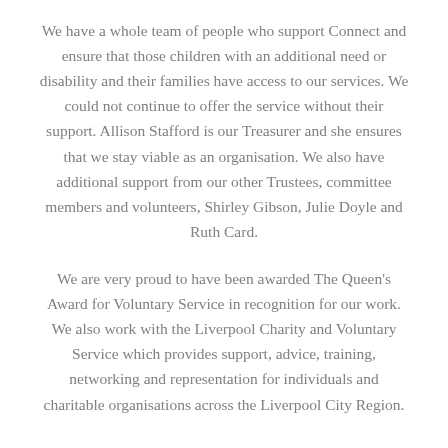We have a whole team of people who support Connect and ensure that those children with an additional need or disability and their families have access to our services. We could not continue to offer the service without their support. Allison Stafford is our Treasurer and she ensures that we stay viable as an organisation. We also have additional support from our other Trustees, committee members and volunteers, Shirley Gibson, Julie Doyle and Ruth Card.
We are very proud to have been awarded The Queen's Award for Voluntary Service in recognition for our work. We also work with the Liverpool Charity and Voluntary Service which provides support, advice, training, networking and representation for individuals and charitable organisations across the Liverpool City Region.